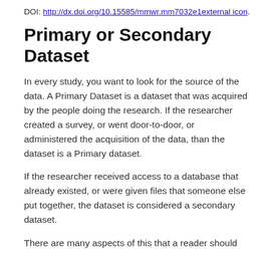DOI: http://dx.doi.org/10.15585/mmwr.mm7032e1external icon.
Primary or Secondary Dataset
In every study, you want to look for the source of the data. A Primary Dataset is a dataset that was acquired by the people doing the research. If the researcher created a survey, or went door-to-door, or administered the acquisition of the data, than the dataset is a Primary dataset.
If the researcher received access to a database that already existed, or were given files that someone else put together, the dataset is considered a secondary dataset.
There are many aspects of this that a reader should